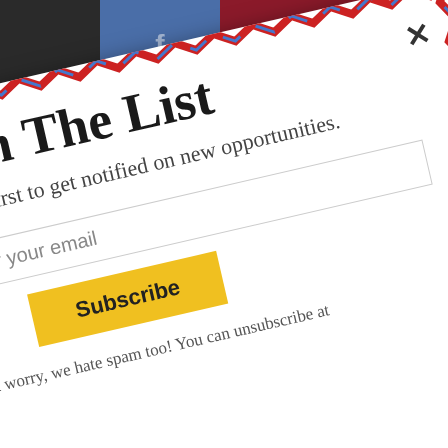[Figure (screenshot): A rotated email subscription popup modal with airmail-style border on a dark website background. The popup shows 'Join The List' heading, subtitle about getting notified, email input field, Subscribe button, and spam disclaimer. Social media icons (Facebook, Pinterest, SMS) visible in background top bar.]
Join The List
Be the first to get notified on new opportunities.
Enter your email
Subscribe
don't worry, we hate spam too! You can unsubscribe at me.
powered by MailMunch